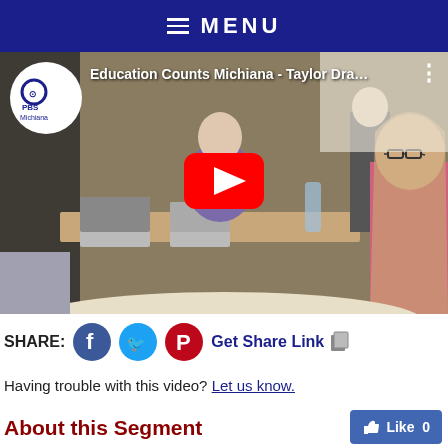MENU
[Figure (screenshot): YouTube video thumbnail showing a classroom scene with students at desks using laptops. A girl with glasses and long blonde hair in a pink shirt faces the camera. PBS Michiana logo in top-left corner. Video title reads 'Education Counts Michiana - Taylor Dra...' A large red YouTube play button is centered on the image.]
SHARE: [Facebook] [Twitter] [Pinterest] Get Share Link
Having trouble with this video? Let us know.
About this Segment